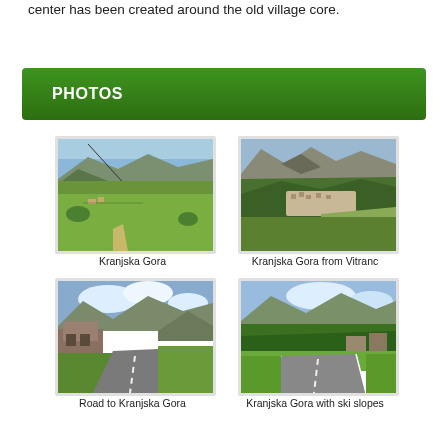center has been created around the old village core.
PHOTOS
[Figure (photo): Landscape photo of Kranjska Gora valley with green fields and mountains]
Kranjska Gora
[Figure (photo): Aerial photo of Kranjska Gora from Vitranc mountain]
Kranjska Gora from Vitranc
[Figure (photo): Road leading to Kranjska Gora with mountains in background]
Road to Kranjska Gora
[Figure (photo): View of Kranjska Gora with ski slopes and road in foreground]
Kranjska Gora with ski slopes